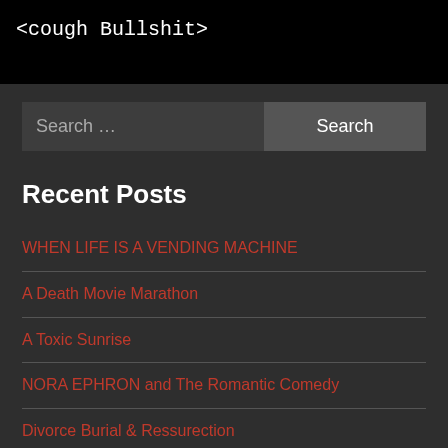<cough Bullshit>
Search ...
Recent Posts
WHEN LIFE IS A VENDING MACHINE
A Death Movie Marathon
A Toxic Sunrise
NORA EPHRON and The Romantic Comedy
Divorce Burial & Ressurection